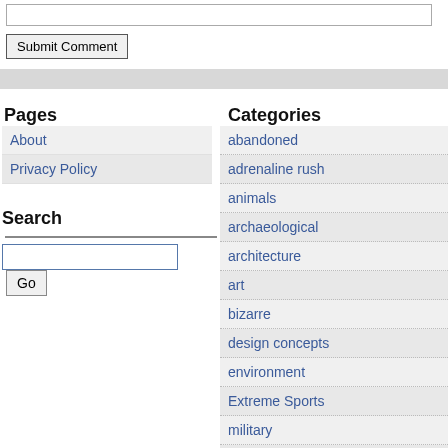[Figure (screenshot): Top input bar (text field, partially visible)]
Submit Comment
Pages
About
Privacy Policy
Search
Go (search button)
Categories
abandoned
adrenaline rush
animals
archaeological
architecture
art
bizarre
design concepts
environment
Extreme Sports
military
nature